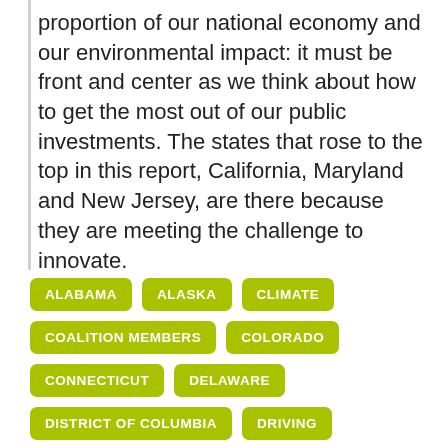proportion of our national economy and our environmental impact: it must be front and center as we think about how to get the most out of our public investments. The states that rose to the top in this report, California, Maryland and New Jersey, are there because they are meeting the challenge to innovate.
ALABAMA
ALASKA
CLIMATE
COALITION MEMBERS
COLORADO
CONNECTICUT
DELAWARE
DISTRICT OF COLUMBIA
DRIVING
ENVIRONMENT
FLORIDA
GEORGIA
GREENHOUSE GAS EMISSIONS
HAWAII